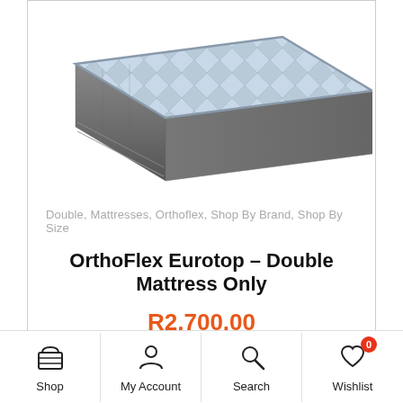[Figure (photo): Mattress product photo showing a gray quilted Eurotop mattress at an angle on white background]
Double, Mattresses, Orthoflex, Shop By Brand, Shop By Size
OrthoFlex Eurotop – Double Mattress Only
R2,700.00
Add To Basket
Shop | My Account | Search | Wishlist